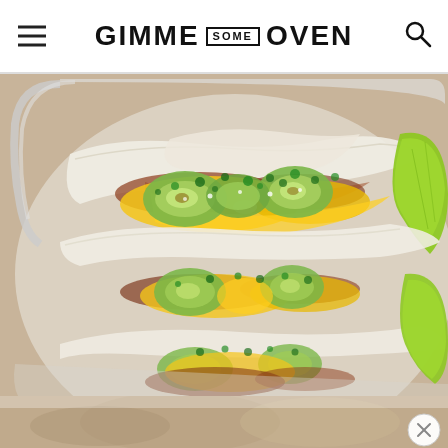GIMME SOME OVEN
[Figure (photo): Overhead close-up photo of breakfast tacos in a white ceramic baking dish. The tacos are folded flour tortillas filled with scrambled eggs, sliced avocado, salsa, cilantro, and cotija cheese. A lime wedge is visible on the right side. Two tacos are shown stacked, with a partial third taco at the bottom.]
[Figure (photo): Partial bottom strip showing a blurred continuation of the food photo from above, with a small circular close (X) button in the lower right corner.]